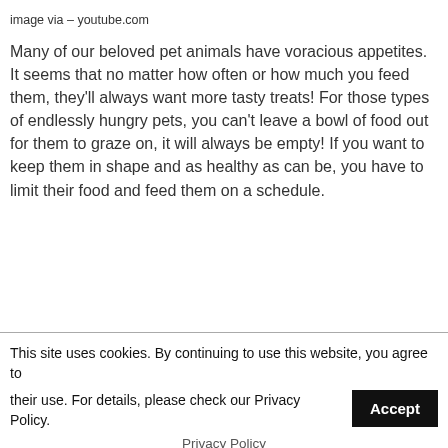image via – youtube.com
Many of our beloved pet animals have voracious appetites. It seems that no matter how often or how much you feed them, they'll always want more tasty treats! For those types of endlessly hungry pets, you can't leave a bowl of food out for them to graze on, it will always be empty! If you want to keep them in shape and as healthy as can be, you have to limit their food and feed them on a schedule.
This site uses cookies. By continuing to use this website, you agree to their use. For details, please check our Privacy Policy. Accept
Privacy Policy